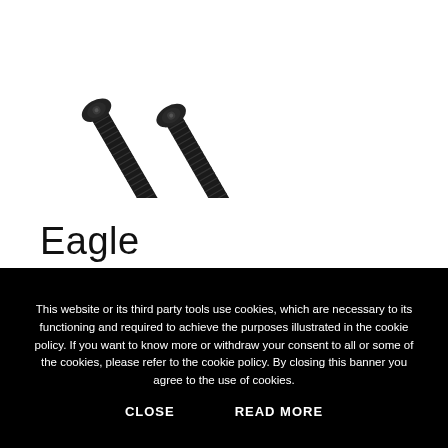[Figure (photo): Two black threaded rods or dowels with decorative end caps, angled diagonally on a white background]
Eagle
This website or its third party tools use cookies, which are necessary to its functioning and required to achieve the purposes illustrated in the cookie policy. If you want to know more or withdraw your consent to all or some of the cookies, please refer to the cookie policy. By closing this banner you agree to the use of cookies.
CLOSE    READ MORE